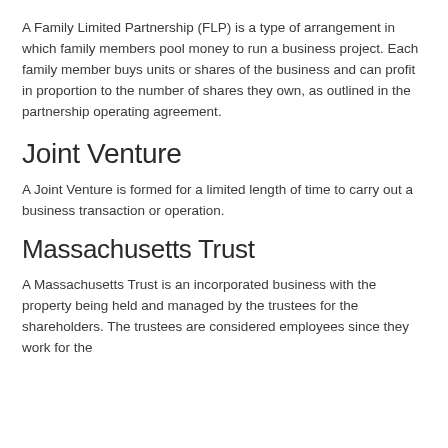A Family Limited Partnership (FLP) is a type of arrangement in which family members pool money to run a business project. Each family member buys units or shares of the business and can profit in proportion to the number of shares they own, as outlined in the partnership operating agreement.
Joint Venture
A Joint Venture is formed for a limited length of time to carry out a business transaction or operation.
Massachusetts Trust
A Massachusetts Trust is an incorporated business with the property being held and managed by the trustees for the shareholders. The trustees are considered employees since they work for the